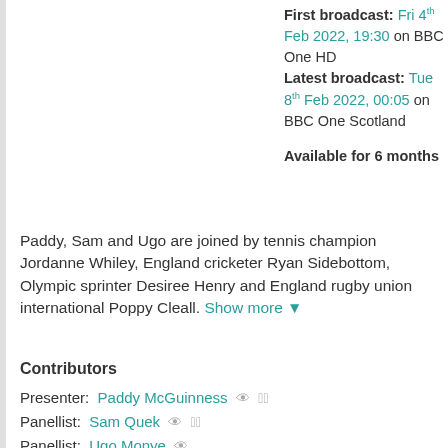First broadcast: Fri 4th Feb 2022, 19:30 on BBC One HD Latest broadcast: Tue 8th Feb 2022, 00:05 on BBC One Scotland Available for 6 months
Paddy, Sam and Ugo are joined by tennis champion Jordanne Whiley, England cricketer Ryan Sidebottom, Olympic sprinter Desiree Henry and England rugby union international Poppy Cleall. Show more
Contributors
Presenter: Paddy McGuinness
Panellist: Sam Quek
Panellist: Ugo Monye